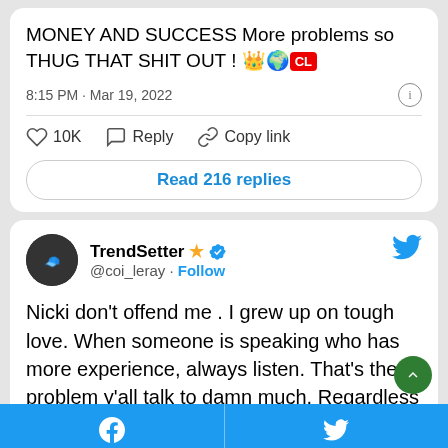MONEY AND SUCCESS More problems so THUG THAT SHIT OUT ! 👑🌍CL
8:15 PM · Mar 19, 2022
10K  Reply  Copy link
Read 216 replies
TrendSetter ⭐ ✔ @coi_leray · Follow
Nicki don't offend me . I grew up on tough love. When someone is speaking who has more experience, always listen. That's the problem y'all talk to damn much. Regardless of what she saying she coming from a good place.
Facebook  Twitter share bar